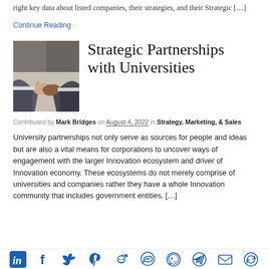right key data about listed companies, their strategies, and their Strategic […]
Continue Reading ·
[Figure (photo): Two people shaking hands, a business handshake photo]
Strategic Partnerships with Universities
Contributed by Mark Bridges on August 4, 2022 in Strategy, Marketing, & Sales
University partnerships not only serve as sources for people and ideas but are also a vital means for corporations to uncover ways of engagement with the larger Innovation ecosystem and driver of Innovation economy. These ecosystems do not merely comprise of universities and companies rather they have a whole Innovation community that includes government entities. […]
Social sharing icons: LinkedIn, Facebook, Twitter, Pinterest, Reddit, Messenger, WhatsApp, Telegram, Email, Share